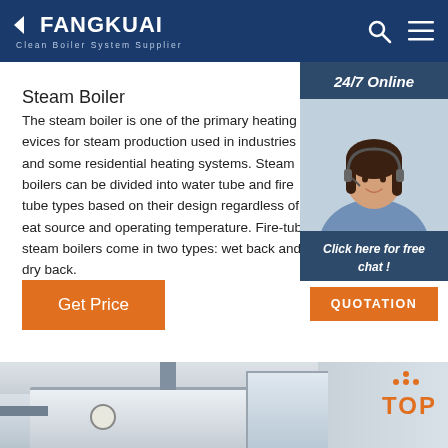FANGKUAI Clean Boiler System Supplier
Steam Boiler
The steam boiler is one of the primary heating devices for steam production used in industries and some residential heating systems. Steam boilers can be divided into water tube and fire tube types based on their design regardless of heat source and operating temperature. Fire-tube steam boilers come in two types: wet back and dry back.
[Figure (photo): Customer service representative woman wearing headset, smiling, with 24/7 Online label and chat widget]
[Figure (photo): Industrial steam boiler equipment installed in a room, showing pipes, gauges and boiler unit]